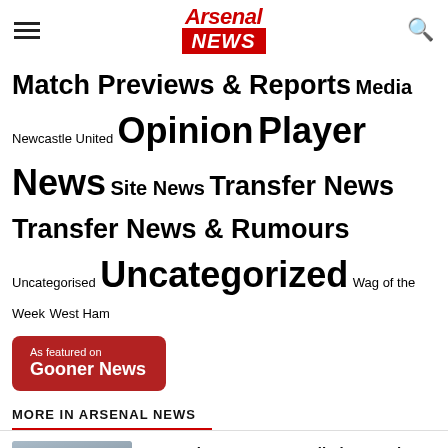Arsenal News
Match Previews & Reports Media Newcastle United Opinion Player News Site News Transfer News Transfer News & Rumours Uncategorised Uncategorized Wag of the Week West Ham
[Figure (illustration): As featured on Gooner News button (dark red rounded rectangle)]
MORE IN ARSENAL NEWS
[Figure (photo): Photo of an Arsenal player raising his hand, wearing grey/white kit]
Arsenal pre-season predictions and Champions League qualification chances
[Figure (photo): Photo of Marco Asensio in a red kit]
Arsenal identify Marco Asensio as Raphinha's alternative